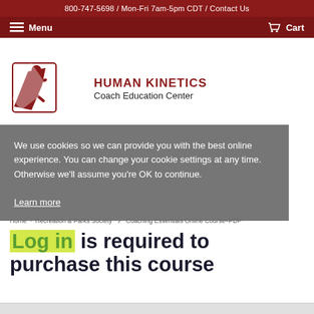800-747-5698 / Mon-Fri 7am-5pm CDT / Contact Us
Menu   Cart
[Figure (logo): Human Kinetics Coach Education Center logo with red running figure icon and text]
We use cookies so we can provide you with the best online experience. You can change your cookie settings at any time. Otherwise we'll assume you're OK to continue.
Learn more
Home · Recreation & Parks Society · Coaching Essentials Online Course-PDF
Log in is required to purchase this course